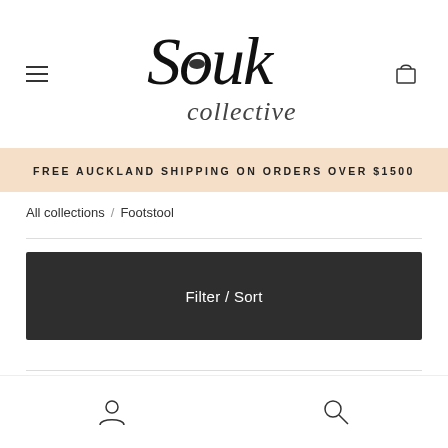Souk Collective - navigation header with hamburger menu, logo, and cart icon
FREE AUCKLAND SHIPPING ON ORDERS OVER $1500
All collections / Footstool
Filter / Sort
Account and Search icons in bottom navigation bar